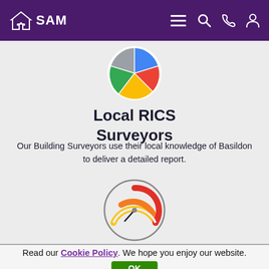SAM
[Figure (logo): Colorful Google Maps-style pin/location icon]
Local RICS Surveyors
Our Building Surveyors use their local knowledge of Basildon to deliver a detailed report.
[Figure (illustration): Speedometer/gauge icon with orange-red gradient arc]
Fast Availability and
Read our Cookie Policy. We hope you enjoy our website.
OK